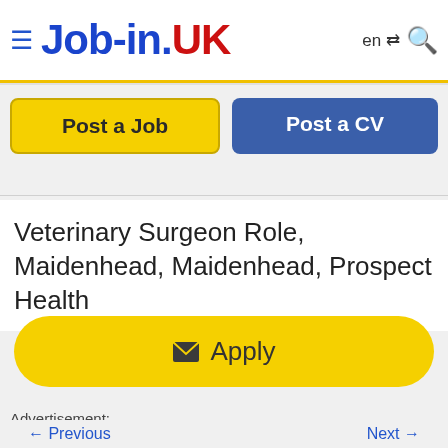≡ Job-in.UK  en ⇄  🔍
[Figure (screenshot): Post a Job button (yellow) and Post a CV button (blue)]
Veterinary Surgeon Role, Maidenhead, Maidenhead, Prospect Health
[Figure (screenshot): Apply button (yellow rounded rectangle with envelope icon)]
Advertisement:
← Previous   Next →